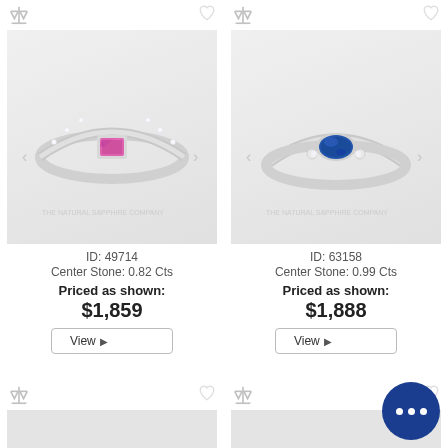[Figure (photo): Pink sapphire ring with diamond band on white background, The Natural Sapphire Company watermark]
ID: 49714
Center Stone: 0.82 Cts
Priced as shown:
$1,859
View
[Figure (photo): Blue sapphire ring with small side diamonds on white background, The Natural Sapphire Company watermark]
ID: 63158
Center Stone: 0.99 Cts
Priced as shown:
$1,888
View
[Figure (photo): Partially visible ring card at bottom left]
[Figure (photo): Partially visible ring card at bottom right with chat bubble overlay]